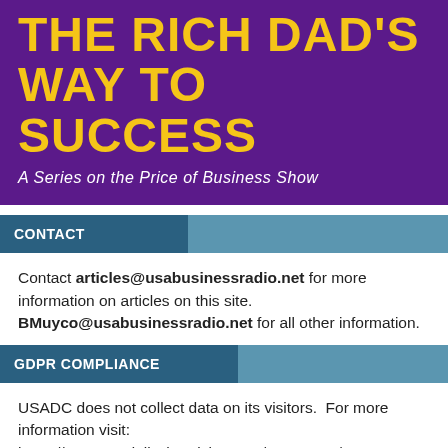THE RICH DAD'S WAY TO SUCCESS
A Series on the Price of Business Show
CONTACT
Contact articles@usabusinessradio.net for more information on articles on this site. BMuyco@usabusinessradio.net for all other information.
GDPR COMPLIANCE
USADC does not collect data on its visitors.  For more information visit: https://www.usadailychronicles.com/contact-us/.